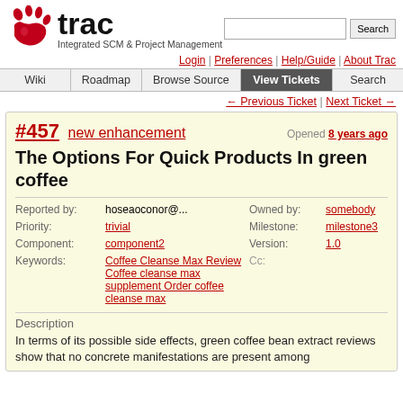[Figure (logo): Trac logo with red paw print and bold 'trac' wordmark, tagline 'Integrated SCM & Project Management']
Login | Preferences | Help/Guide | About Trac
Wiki | Roadmap | Browse Source | View Tickets | Search
← Previous Ticket | Next Ticket →
#457 new enhancement — Opened 8 years ago
The Options For Quick Products In green coffee
| Field | Value | Field | Value |
| --- | --- | --- | --- |
| Reported by: | hoseaoconor@... | Owned by: | somebody |
| Priority: | trivial | Milestone: | milestone3 |
| Component: | component2 | Version: | 1.0 |
| Keywords: | Coffee Cleanse Max Review Coffee cleanse max supplement Order coffee cleanse max | Cc: |  |
Description
In terms of its possible side effects, green coffee bean extract reviews show that no concrete manifestations are present among